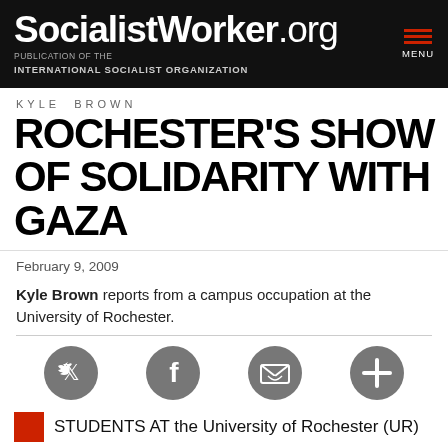SocialistWorker.org — PUBLICATION OF THE INTERNATIONAL SOCIALIST ORGANIZATION
KYLE BROWN
ROCHESTER'S SHOW OF SOLIDARITY WITH GAZA
February 9, 2009
Kyle Brown reports from a campus occupation at the University of Rochester.
[Figure (infographic): Social sharing icons row: Twitter, Facebook, Email/envelope, and a plus/add button, each as dark grey circles]
STUDENTS AT the University of Rochester (UR)